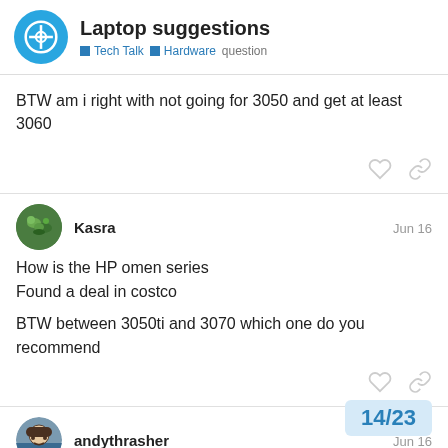Laptop suggestions — Tech Talk | Hardware | question
BTW am i right with not going for 3050 and get at least 3060
Kasra  Jun 16
How is the HP omen series
Found a deal in costco

BTW between 3050ti and 3070 which one do you recommend
andythrasher  Jun 16
Defnitely the 3070. The 3050ti would be go
14 / 23